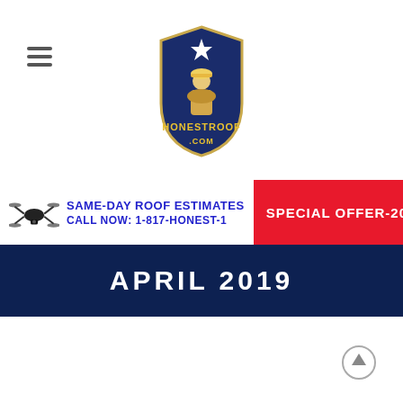[Figure (logo): HonestRoof.com logo — a shield shape with a star and a roofer/worker figure holding tools, with the text HONESTROOF and .COM]
[Figure (infographic): Banner with a drone icon on left, text 'SAME-DAY ROOF ESTIMATES CALL NOW: 1-817-HONEST-1' in blue, and a red banner on right reading 'SPECIAL OFFER-20% OF']
APRIL 2019
[Figure (illustration): Scroll-to-top arrow icon (upward pointing arrow in a circle)]